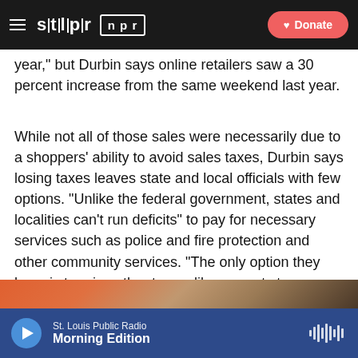STLPR NPR | Donate
year,” but Durbin says online retailers saw a 30 percent increase from the same weekend last year.
While not all of those sales were necessarily due to a shoppers’ ability to avoid sales taxes, Durbin says losing taxes leaves state and local officials with few options. “Unlike the federal government, states and localities can’t run deficits” to pay for necessary services such as police and fire protection and other community services. “The only option they have is to raise other taxes, like property taxes or to cut vital services.”
[Figure (photo): Partial photo of a person, showing the top of their head with brown hair, with an orange/red background visible]
St. Louis Public Radio | Morning Edition (audio player bar)